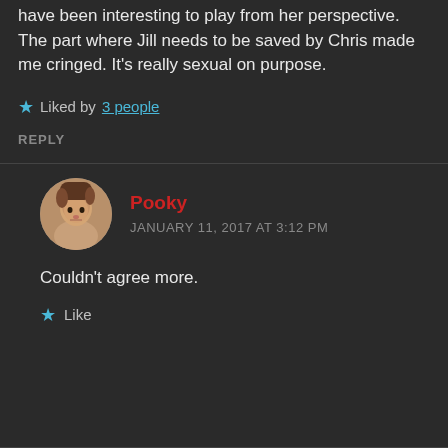Yeah I wish Sheva was the protagonist. It would have been interesting to play from her perspective. The part where Jill needs to be saved by Chris made me cringed. It's really sexual on purpose.
★ Liked by 3 people
REPLY
[Figure (photo): Circular avatar photo of user Pooky, showing a young person looking upward]
Pooky
JANUARY 11, 2017 AT 3:12 PM
Couldn't agree more.
★ Like